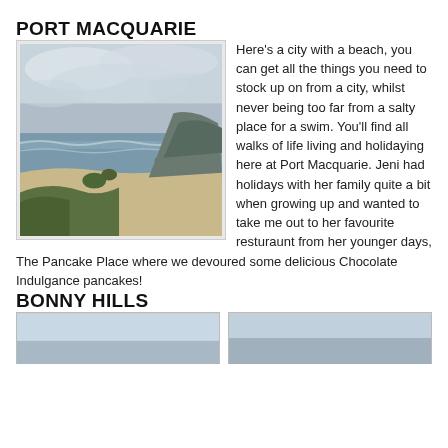PORT MACQUARIE
[Figure (photo): Coastal beach scene at Port Macquarie with ocean, sandy beach, rocks, green headland and cloudy sky]
Here's a city with a beach, you can get all the things you need to stock up on from a city, whilst never being too far from a salty place for a swim. You'll find all walks of life living and holidaying here at Port Macquarie. Jeni had holidays with her family quite a bit when growing up and wanted to take me out to her favourite resturaunt from her younger days, The Pancake Place where we devoured some delicious Chocolate Indulgance pancakes!
BONNY HILLS
[Figure (photo): Partial photo of Bonny Hills, left side]
[Figure (photo): Partial photo of Bonny Hills, right side]